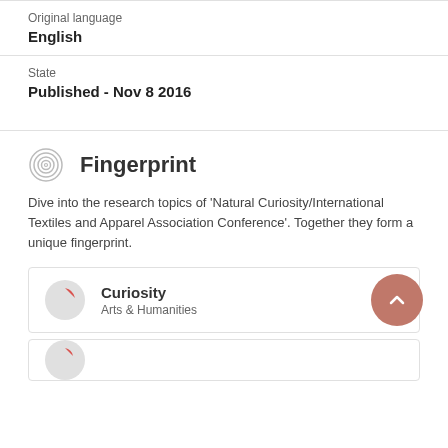Original language
English
State
Published - Nov 8 2016
Fingerprint
Dive into the research topics of 'Natural Curiosity/International Textiles and Apparel Association Conference'. Together they form a unique fingerprint.
Curiosity
Arts & Humanities